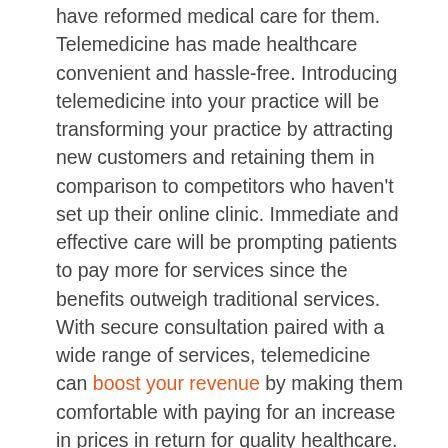have reformed medical care for them. Telemedicine has made healthcare convenient and hassle-free. Introducing telemedicine into your practice will be transforming your practice by attracting new customers and retaining them in comparison to competitors who haven't set up their online clinic. Immediate and effective care will be prompting patients to pay more for services since the benefits outweigh traditional services. With secure consultation paired with a wide range of services, telemedicine can boost your revenue by making them comfortable with paying for an increase in prices in return for quality healthcare.
Attracting Different Kinds of